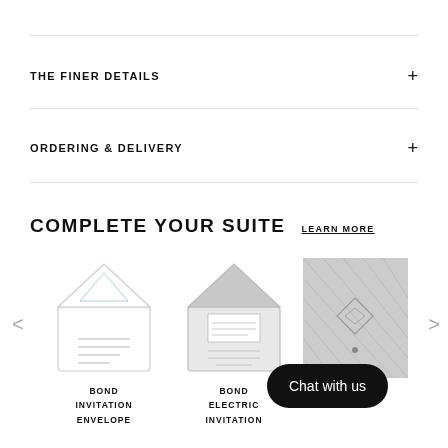THE FINER DETAILS
ORDERING & DELIVERY
COMPLETE YOUR SUITE
LEARN MORE
[Figure (illustration): Bond Invitation Envelope product thumbnail - white envelope with decorative design]
BOND INVITATION ENVELOPE
[Figure (illustration): Bond Electric Invitation product thumbnail - grey envelope with triangle flap]
BOND ELECTRIC INVITATION
[Figure (illustration): Back product thumbnail - grey patterned card]
BACK
Chat with us